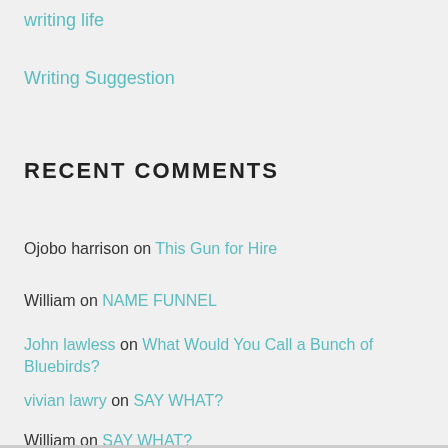writing life
Writing Suggestion
RECENT COMMENTS
Ojobo harrison on This Gun for Hire
William on NAME FUNNEL
John lawless on What Would You Call a Bunch of Bluebirds?
vivian lawry on SAY WHAT?
William on SAY WHAT?